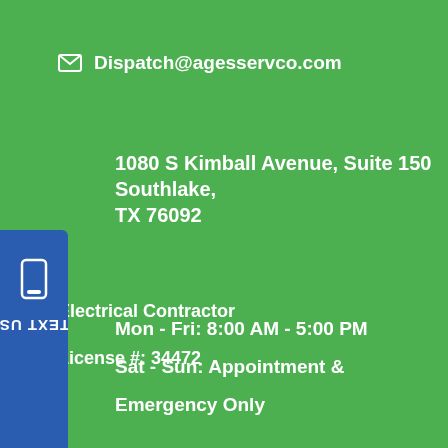✉ Dispatch@agesservco.com
1080 S Kimball Avenue, Suite 150 Southlake, TX 76092
[Figure (other): Blue vertical tab on left side reading TEXT US with phone icon, rotated 90 degrees]
Mon - Fri: 8:00 AM - 5:00 PM
Sat - Sun: Appointment & Emergency Only
Electrical Contractor
License #: 34472